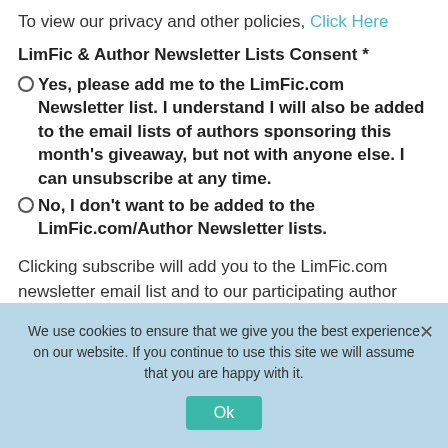To view our privacy and other policies, Click Here
LimFic & Author Newsletter Lists Consent *
Yes, please add me to the LimFic.com Newsletter list. I understand I will also be added to the email lists of authors sponsoring this month's giveaway, but not with anyone else. I can unsubscribe at any time.
No, I don't want to be added to the LimFic.com/Author Newsletter lists.
Clicking subscribe will add you to the LimFic.com newsletter email list and to our participating author lists. We will send you the books at the start of next month.
We use cookies to ensure that we give you the best experience on our website. If you continue to use this site we will assume that you are happy with it.